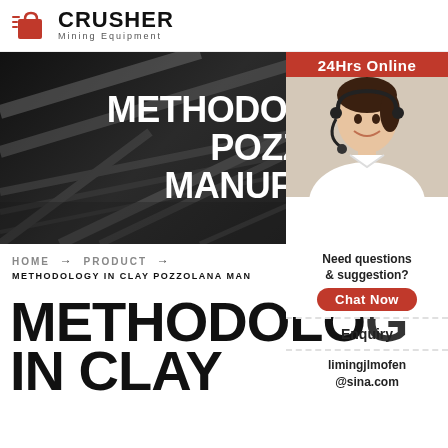[Figure (logo): Crusher Mining Equipment logo with red shopping bag icon and bold black CRUSHER text]
METHODOLOGY IN CLAY POZZOLANA MANUFACTURING
[Figure (photo): 24Hrs Online customer service representative wearing headset, smiling]
HOME → PRODUCT →
METHODOLOGY IN CLAY POZZOLANA MAN...
Need questions & suggestion?
Chat Now
Enquiry
limingjlmofen@sina.com
METHODOLOGY IN CLAY